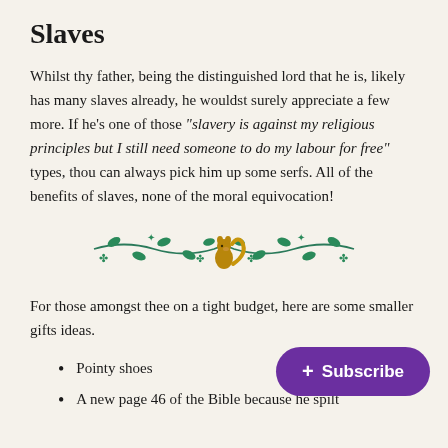Slaves
Whilst thy father, being the distinguished lord that he is, likely has many slaves already, he wouldst surely appreciate a few more. If he's one of those "slavery is against my religious principles but I still need someone to do my labour for free" types, thou can always pick him up some serfs. All of the benefits of slaves, none of the moral equivocation!
[Figure (illustration): Decorative divider with green ivy/vine branch and a golden squirrel or animal figure in the center]
For those amongst thee on a tight budget, here are some smaller gifts ideas.
Pointy shoes
A new page 46 of the Bible because he spilt